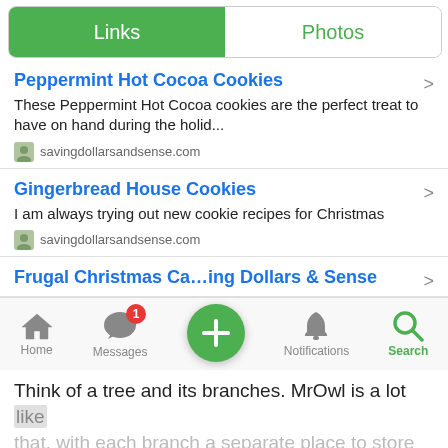[Figure (screenshot): Mobile app screenshot showing Links/Photos tab bar with green active Links tab and white Photos tab]
Peppermint Hot Cocoa Cookies
These Peppermint Hot Cocoa cookies are the perfect treat to have on hand during the holid...
savingdollarsandsense.com
Gingerbread House Cookies
I am always trying out new cookie recipes for Christmas
savingdollarsandsense.com
Frugal Christmas Ca...ing Dollars & Sense
[Figure (screenshot): Mobile bottom navigation bar with Home, Messages (badge 1), plus button, Notifications, Search (green)]
Think of a tree and its branches. MrOwl is a lot like that, with each branch a separate place to store all